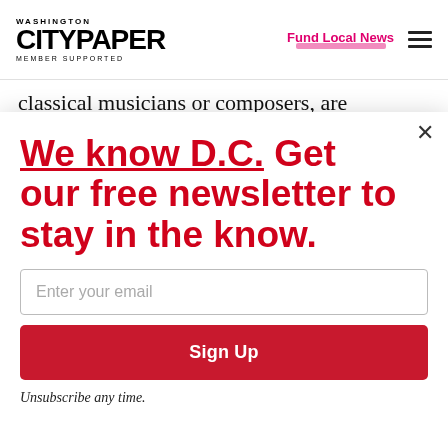WASHINGTON CITYPAPER MEMBER SUPPORTED | Fund Local News
classical musicians or composers, are
We know D.C. Get our free newsletter to stay in the know.
Enter your email
Sign Up
Unsubscribe any time.